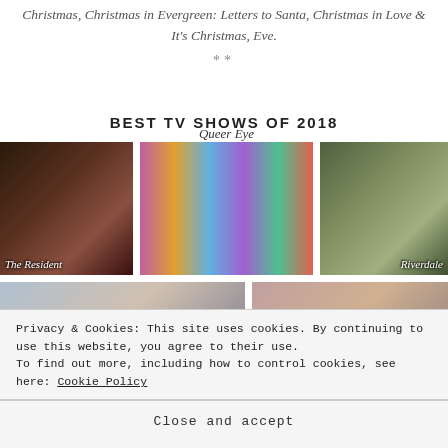Christmas, Christmas in Evergreen: Letters to Santa, Christmas in Love & It's Christmas, Eve.
**
BEST TV SHOWS OF 2018
[Figure (photo): Three TV show promotional images in a row: The Resident (couple embracing in dark bar), Queer Eye (five cast members posing together on colorful background), Riverdale (two young people leaning together outdoors). Below: two more partially visible show promotional images.]
Privacy & Cookies: This site uses cookies. By continuing to use this website, you agree to their use.
To find out more, including how to control cookies, see here: Cookie Policy
Close and accept
around a while then you know how I feel about